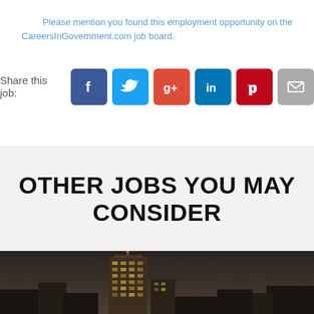Please mention you found this employment opportunity on the CareersInGovernment.com job board.
Share this job:
[Figure (infographic): Social media share buttons: Facebook, Twitter, Google+, LinkedIn, Pinterest, Email]
OTHER JOBS YOU MAY CONSIDER
[Figure (photo): Night cityscape photograph showing illuminated skyscraper against dark sky]